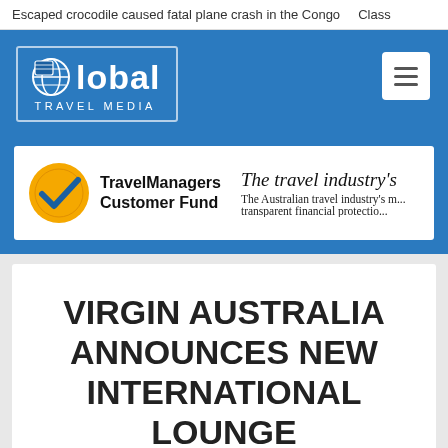Escaped crocodile caused fatal plane crash in the Congo   Class
[Figure (logo): Global Travel Media logo — white globe icon with 'Global' text and 'TRAVEL MEDIA' below, inside a bordered box on blue background]
[Figure (logo): TravelManagers Customer Fund logo — yellow/orange circle with blue check mark, beside the text 'TravelManagers Customer Fund'. Beside it: 'The travel industry's' headline and 'The Australian travel industry's m... transparent financial protectio...' subtext]
VIRGIN AUSTRALIA ANNOUNCES NEW INTERNATIONAL LOUNGE